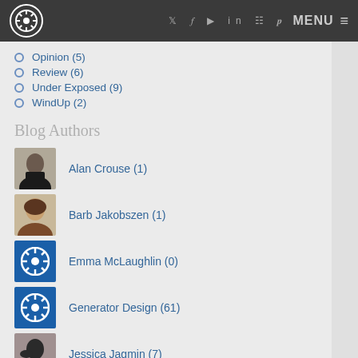Generator Design — MENU
Opinion (5)
Review (6)
Under Exposed (9)
WindUp (2)
Blog Authors
Alan Crouse (1)
Barb Jakobszen (1)
Emma McLaughlin (0)
Generator Design (61)
Jessica Jagmin (7)
Jose Guzman (4)
Katie Phillips (1)
Tag Cloud